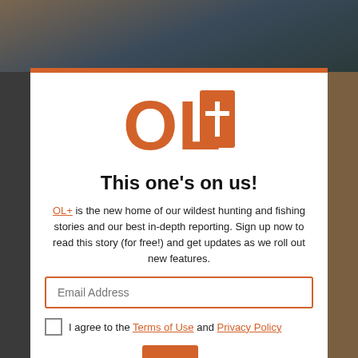[Figure (logo): OL+ logo: orange letters OL with an orange square containing a white plus sign]
This one's on us!
OL+ is the new home of our wildest hunting and fishing stories and our best in-depth reporting. Sign up now to read this story (for free!) and get updates as we roll out new features.
Email Address
I agree to the Terms of Use and Privacy Policy
READ NOW